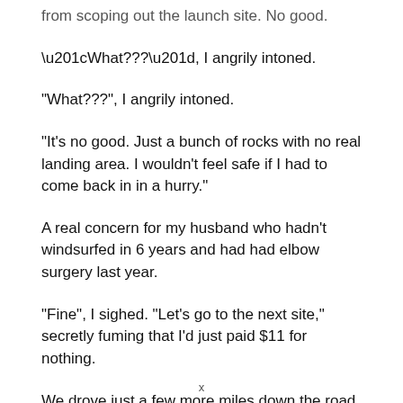from scoping out the launch site. No good.
“What???”, I angrily intoned.
“It’s no good. Just a bunch of rocks with no real landing area. I wouldn’t feel safe if I had to come back in in a hurry.”
A real concern for my husband who hadn’t windsurfed in 6 years and had had elbow surgery last year.
“Fine”, I sighed. “Let’s go to the next site,” secretly fuming that I’d just paid $11 for nothing.
We drove just a few more miles down the road to the next
x